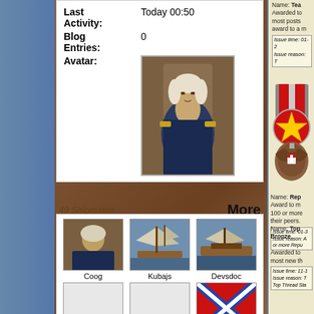| Field | Value |
| --- | --- |
| Last Activity: | Today 00:50 |
| Blog Entries: | 0 |
| Avatar: | [portrait image] |
49 Shipmates
More
Coog
Kubajs
Devsdoc
Grimbean
Aardvark:
Gunner
Name: Tea... Awarded to most posts award to a m...
Issue time: 01-2... Issue reason: T...
Name: Rep... Award to m... 100 or more their peers.
Issue time: 01-3... Issue reason: A... or more Repu...
Name: Top Bronze
Awarded to most new th...
Issue time: 11-1... Issue reason: T... Top Thread Sta...